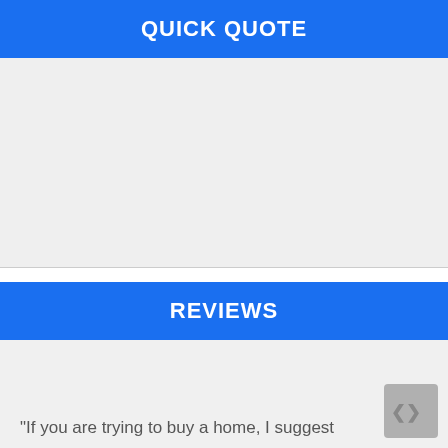QUICK QUOTE
[Figure (other): Empty light gray form area for quick quote input]
REVIEWS
"If you are trying to buy a home, I suggest